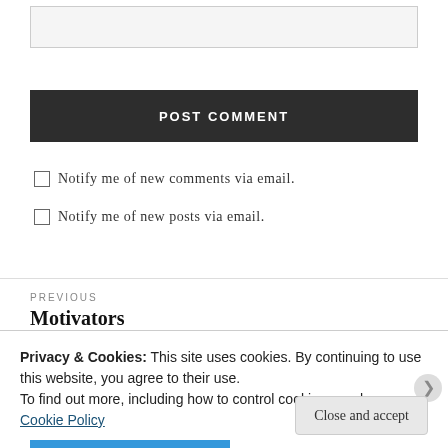[Figure (other): Text input box (form field), light gray background]
POST COMMENT
Notify me of new comments via email.
Notify me of new posts via email.
PREVIOUS
Motivators
Privacy & Cookies: This site uses cookies. By continuing to use this website, you agree to their use.
To find out more, including how to control cookies, see here: Cookie Policy
Close and accept